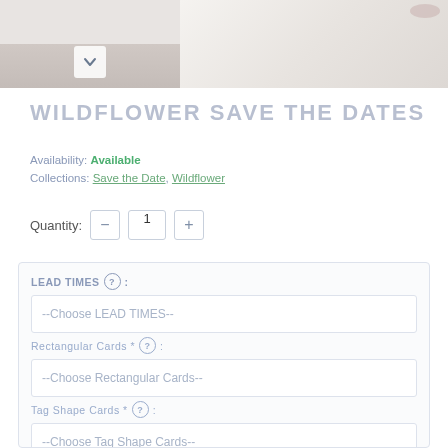[Figure (photo): Two product images side by side: left shows a person holding a card with a chevron/down arrow button overlay, right shows wildflower save the date card with envelope]
WILDFLOWER SAVE THE DATES
Availability: Available
Collections: Save the Date, Wildflower
Quantity: 1 (with minus and plus buttons)
| LEAD TIMES ?: --Choose LEAD TIMES-- |
| Rectangular Cards * ?: --Choose Rectangular Cards-- |
| Tag Shape Cards * ?: --Choose Tag Shape Cards-- |
| Add magnet to reverse * ?: --Choose Add magnet to reverse-- |